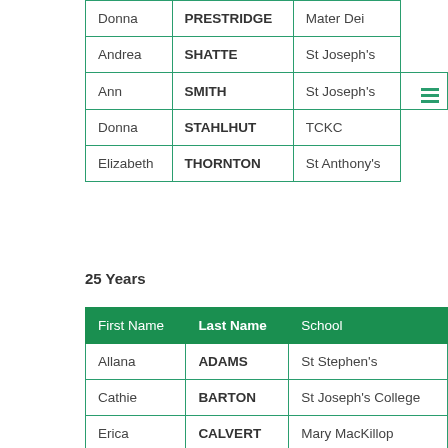| First Name | Last Name | School |
| --- | --- | --- |
| Donna | PRESTRIDGE | Mater Dei |
| Andrea | SHATTE | St Joseph's |
| Ann | SMITH | St Joseph's |
| Donna | STAHLHUT | TCKC |
| Elizabeth | THORNTON | St Anthony's |
25 Years
| First Name | Last Name | School |
| --- | --- | --- |
| Allana | ADAMS | St Stephen's |
| Cathie | BARTON | St Joseph's College |
| Erica | CALVERT | Mary MacKillop |